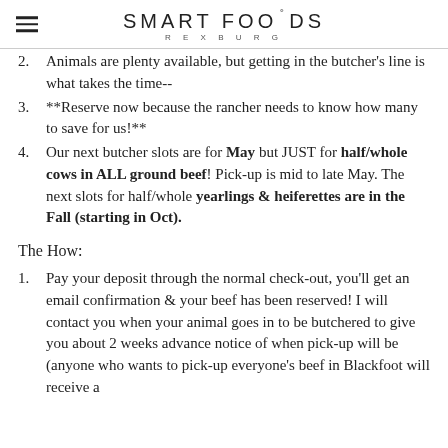SMART FOODS REXBURG
2. Animals are plenty available, but getting in the butcher's line is what takes the time--
3. **Reserve now because the rancher needs to know how many to save for us!**
4. Our next butcher slots are for May but JUST for half/whole cows in ALL ground beef! Pick-up is mid to late May. The next slots for half/whole yearlings & heiferettes are in the Fall (starting in Oct).
The How:
1. Pay your deposit through the normal check-out, you'll get an email confirmation & your beef has been reserved! I will contact you when your animal goes in to be butchered to give you about 2 weeks advance notice of when pick-up will be (anyone who wants to pick-up everyone's beef in Blackfoot will receive a